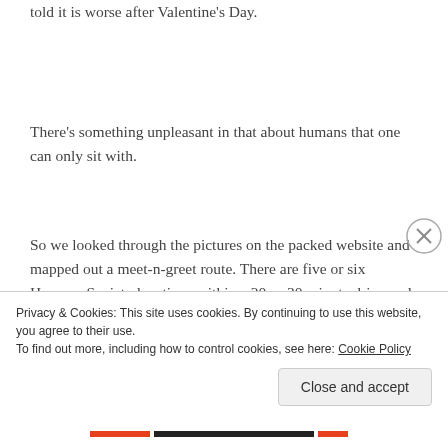told it is worse after Valentine's Day.
There's something unpleasant in that about humans that one can only sit with.
So we looked through the pictures on the packed website and mapped out a meet-n-greet route. There are five or six Humane Society locations within a 20 or 30 minute drive and even more just a little further out
Privacy & Cookies: This site uses cookies. By continuing to use this website, you agree to their use.
To find out more, including how to control cookies, see here: Cookie Policy
Close and accept